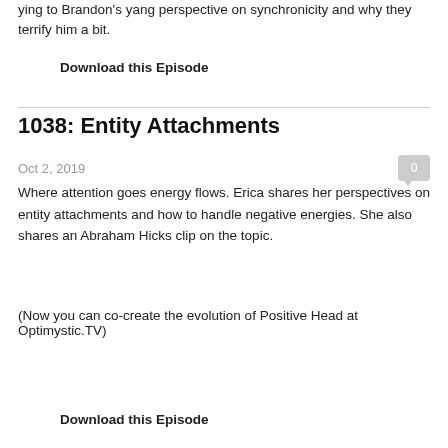ying to Brandon's yang perspective on synchronicity and why they terrify him a bit.
Download this Episode
1038: Entity Attachments
Oct 2, 2019
Where attention goes energy flows. Erica shares her perspectives on entity attachments and how to handle negative energies. She also shares an Abraham Hicks clip on the topic.
(Now you can co-create the evolution of Positive Head at Optimystic.TV)
Download this Episode